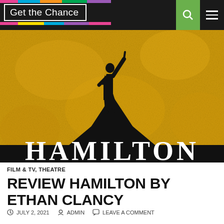Get the Chance
[Figure (illustration): Hamilton musical promotional image: silhouette of a figure in historical costume standing on a black star shape with one arm raised, against a gold textured background. Large white text reads HAMILTON at the bottom.]
FILM & TV, THEATRE
REVIEW HAMILTON BY ETHAN CLANCY
JULY 2, 2021   ADMIN   LEAVE A COMMENT